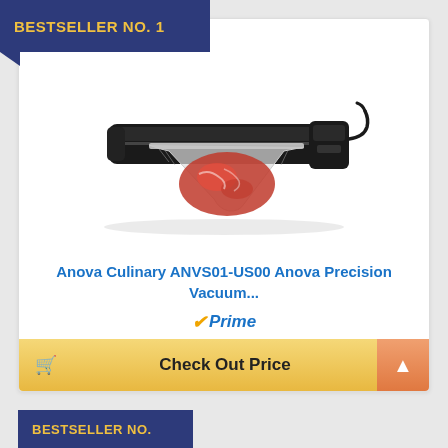BESTSELLER NO. 1
[Figure (photo): Anova Culinary vacuum sealer machine with a vacuum-sealed bag of raw meat coming out of it. The device is black and elongated.]
Anova Culinary ANVS01-US00 Anova Precision Vacuum...
Prime
$79.95
Check Out Price
BESTSELLER NO.